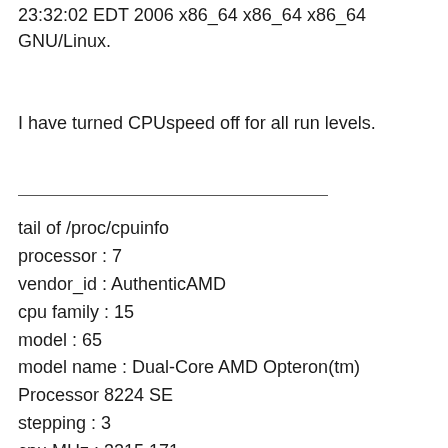23:32:02 EDT 2006 x86_64 x86_64 x86_64 GNU/Linux.
I have turned CPUspeed off for all run levels.
tail of /proc/cpuinfo
processor : 7
vendor_id : AuthenticAMD
cpu family : 15
model : 65
model name : Dual-Core AMD Opteron(tm) Processor 8224 SE
stepping : 3
cpu MHz : 3215.171
cache size : 1024 KB
physical id : 3